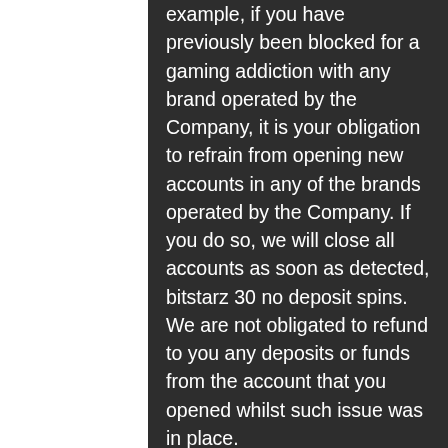example, if you have previously been blocked for a gaming addiction with any brand operated by the Company, it is your obligation to refrain from opening new accounts in any of the brands operated by the Company. If you do so, we will close all accounts as soon as detected, bitstarz 30 no deposit spins. We are not obligated to refund to you any deposits or funds from the account that you opened whilst such issue was in place.
Today's Results:
Pablo Picasslot - 424.1 usdt
Goldenman - 28.4 usdt
Mega Stellar - 368.1 bch
Sushi Bar - 718.1 ltc
Diggin' Deep - 83.9 bch
Elven Magic - 252.9 usdt
5 Reel Bingo - 576.1 dog
Jewel Blast - 557.9 ltc
[Figure (illustration): Dark gaming-themed decorative graphic on the right side with purple, green and teal neon elements on a black background]